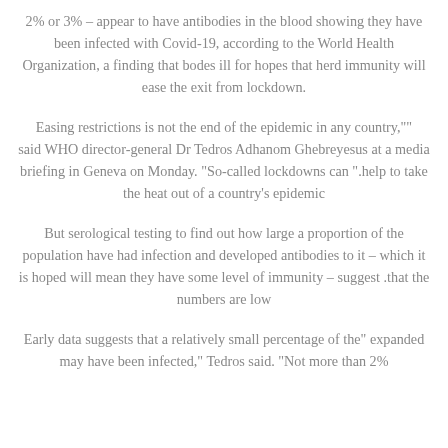2% or 3% – appear to have antibodies in the blood showing they have been infected with Covid-19, according to the World Health Organization, a finding that bodes ill for hopes that herd immunity will ease the exit from lockdown.
"Easing restrictions is not the end of the epidemic in any country," said WHO director-general Dr Tedros Adhanom Ghebreyesus at a media briefing in Geneva on Monday. "So-called lockdowns can help to take the heat out of a country's epidemic".
But serological testing to find out how large a proportion of the population have had infection and developed antibodies to it – which it is hoped will mean they have some level of immunity – suggest that the numbers are low.
"Early data suggests that a relatively small percentage of the expanded may have been infected," Tedros said. "Not more than 2%